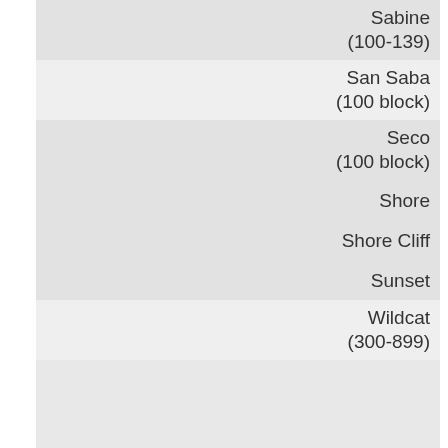Sabine (100-139)
San Saba (100 block)
Seco (100 block)
Shore
Shore Cliff
Sunset
Wildcat (300-899)